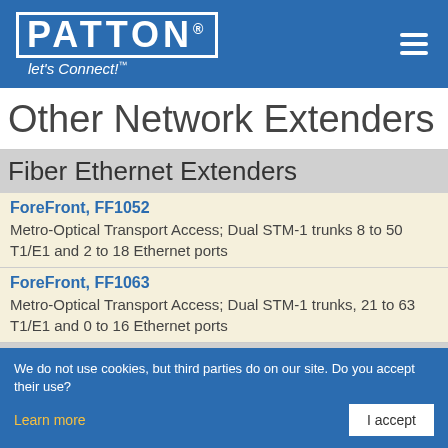PATTON® let's Connect! [navigation menu]
Other Network Extenders
Fiber Ethernet Extenders
ForeFront, FF1052
Metro-Optical Transport Access; Dual STM-1 trunks 8 to 50 T1/E1 and 2 to 18 Ethernet ports
ForeFront, FF1063
Metro-Optical Transport Access; Dual STM-1 trunks, 21 to 63 T1/E1 and 0 to 16 Ethernet ports
T1/E1 Extenders
ForeFront, 1195
Multi-E1 (TDM) and Ethernet Extender over Fiber Mux
We do not use cookies, but third parties do on our site. Do you accept their use? Learn more | I accept